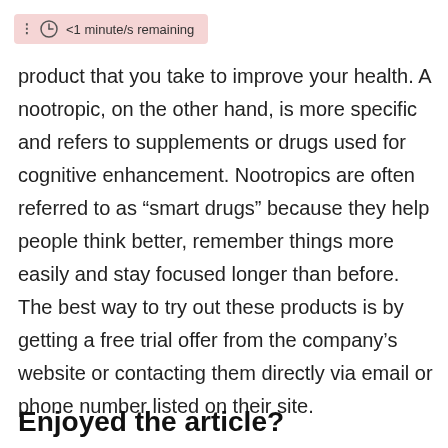<1 minute/s remaining
product that you take to improve your health. A nootropic, on the other hand, is more specific and refers to supplements or drugs used for cognitive enhancement. Nootropics are often referred to as “smart drugs” because they help people think better, remember things more easily and stay focused longer than before. The best way to try out these products is by getting a free trial offer from the company’s website or contacting them directly via email or phone number listed on their site.
Enjoyed the article?